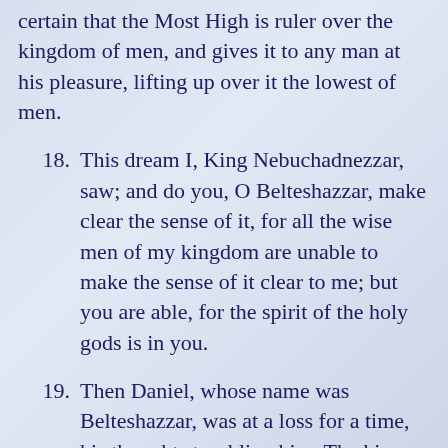certain that the Most High is ruler over the kingdom of men, and gives it to any man at his pleasure, lifting up over it the lowest of men.
18. This dream I, King Nebuchadnezzar, saw; and do you, O Belteshazzar, make clear the sense of it, for all the wise men of my kingdom are unable to make the sense of it clear to me; but you are able, for the spirit of the holy gods is in you.
19. Then Daniel, whose name was Belteshazzar, was at a loss for a time, his thoughts troubling him. The king made answer and said, Belteshazzar